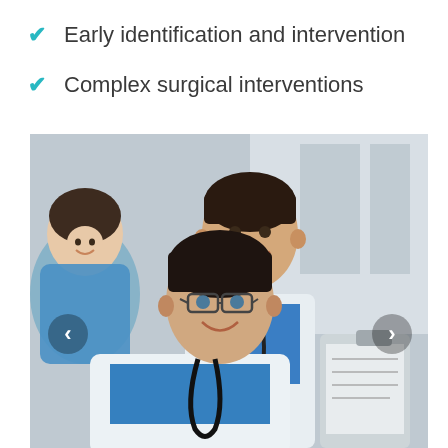Early identification and intervention
Complex surgical interventions
[Figure (photo): Three smiling medical professionals in white lab coats. A woman with glasses and a stethoscope is in the foreground holding a clipboard, a man in a white coat and blue scrubs is in the center background, and another woman in blue scrubs is on the left. Navigation arrows (< and >) are visible on left and right sides of the photo.]